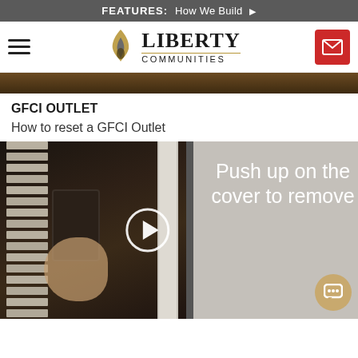FEATURES: How We Build ▶
[Figure (logo): Liberty Communities logo with flame icon, hamburger menu, and mail button]
[Figure (photo): Brown decorative header strip]
GFCI OUTLET
How to reset a GFCI Outlet
[Figure (screenshot): Video thumbnail showing a person pushing up on an electrical outlet cover near window blinds, with play button overlay and text 'Push up on the cover to remove']